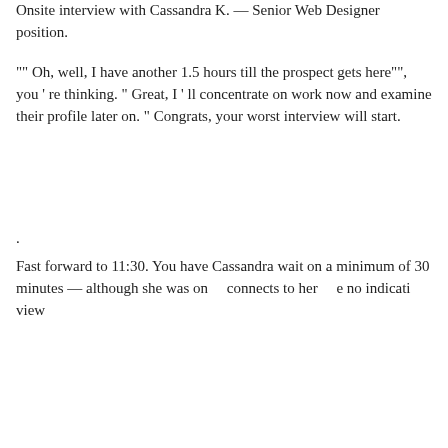Onsite interview with Cassandra K. — Senior Web Designer position.
"" Oh, well, I have another 1.5 hours till the prospect gets here""", you ' re thinking. " Great, I ' ll concentrate on work now and examine their profile later on. " Congrats, your worst interview will start.
.
Fast forward to 11:30. You have Cassandra wait on a minimum of 30 minutes –– although she was on... connects to her ... e no indication... view
[Figure (other): Blue popup dialog with text 'What digital marketing tool would you pay $30 a month for?' and a green Reply button, with a chevron/close icon at top right.]